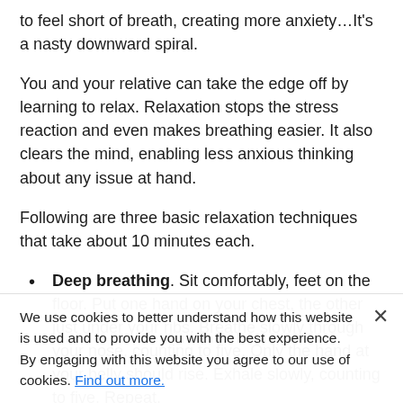to feel short of breath, creating more anxiety…It's a nasty downward spiral.
You and your relative can take the edge off by learning to relax. Relaxation stops the stress reaction and even makes breathing easier. It also clears the mind, enabling less anxious thinking about any issue at hand.
Following are three basic relaxation techniques that take about 10 minutes each.
Deep breathing. Sit comfortably, feet on the floor. Put one hand on your chest, the other just under your ribs. Breathe slowly through your nose, counting to five. Only the hand at your belly should rise. Exhale slowly, counting to five. Repeat.
Mu... Starting with your feet, tense and relax your muscles, moving up your body to shoulders, thighs, etc. Count to five while tensing and to 30 while relaxing, and then...
We use cookies to better understand how this website is used and to provide you with the best experience. By engaging with this website you agree to our use of cookies. Find out more.